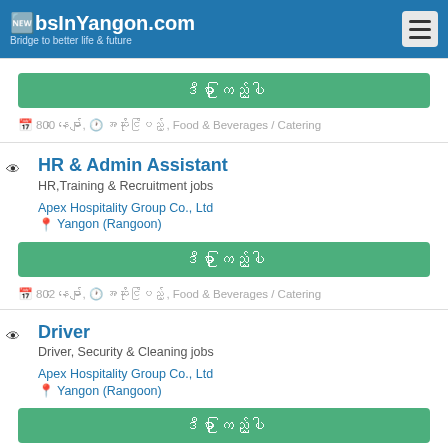JobsInYangon.com — Bridge to better life & future
ဒီမှာ ကြည့်ပါ
800 နေမျာ, အဆိုင်ပြည့် , Food & Beverages / Catering
HR & Admin Assistant
HR,Training & Recruitment jobs
Apex Hospitality Group Co., Ltd
Yangon (Rangoon)
ဒီမှာ ကြည့်ပါ
802 နေမျာ, အဆိုင်ပြည့် , Food & Beverages / Catering
Driver
Driver, Security & Cleaning jobs
Apex Hospitality Group Co., Ltd
Yangon (Rangoon)
ဒီမှာ ကြည့်ပါ
802 နေမျာ, အဆိုင်ပြည့် , Food & Beverages / Catering